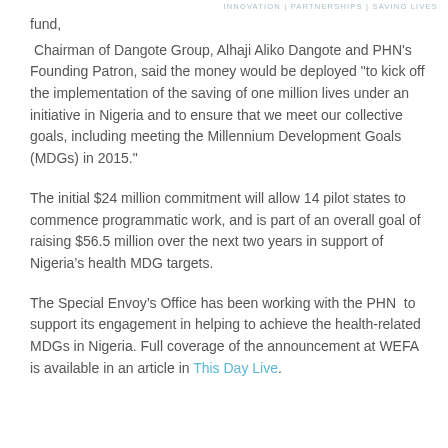INNOVATION | PARTNERSHIPS | SAVING LIVES
fund,
Chairman of Dangote Group, Alhaji Aliko Dangote and PHN's Founding Patron, said the money would be deployed "to kick off the implementation of the saving of one million lives under an initiative in Nigeria and to ensure that we meet our collective goals, including meeting the Millennium Development Goals (MDGs) in 2015."
The initial $24 million commitment will allow 14 pilot states to commence programmatic work, and is part of an overall goal of raising $56.5 million over the next two years in support of Nigeria’s health MDG targets.
The Special Envoy’s Office has been working with the PHN to support its engagement in helping to achieve the health-related MDGs in Nigeria. Full coverage of the announcement at WEFA is available in an article in This Day Live.